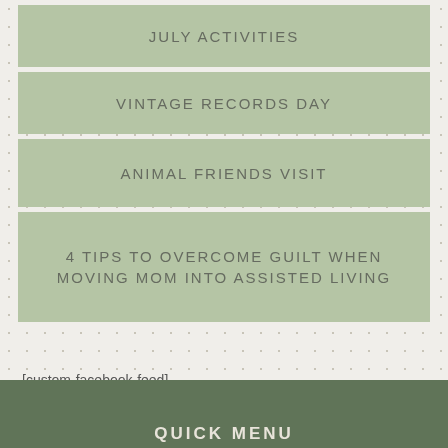JULY ACTIVITIES
VINTAGE RECORDS DAY
ANIMAL FRIENDS VISIT
4 TIPS TO OVERCOME GUILT WHEN MOVING MOM INTO ASSISTED LIVING
[custom-facebook-feed]
QUICK MENU